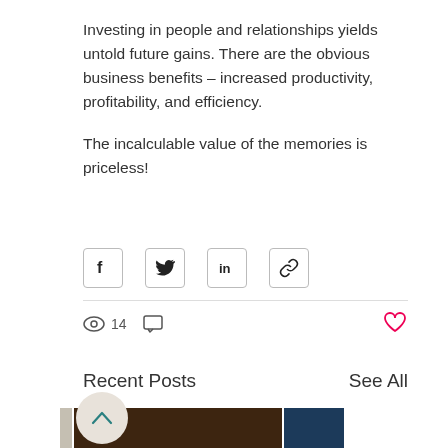Investing in people and relationships yields untold future gains. There are the obvious business benefits – increased productivity, profitability, and efficiency.

The incalculable value of the memories is priceless!
[Figure (infographic): Social share buttons: Facebook, Twitter, LinkedIn, and link/copy icons in outlined square buttons]
[Figure (infographic): Stats bar with eye/views icon showing 14 views, a comment/chat bubble icon, and a red heart/like button on the right]
Recent Posts
See All
[Figure (photo): Thumbnail images of recent blog posts partially visible at the bottom of the page, along with a back-to-top circular button]